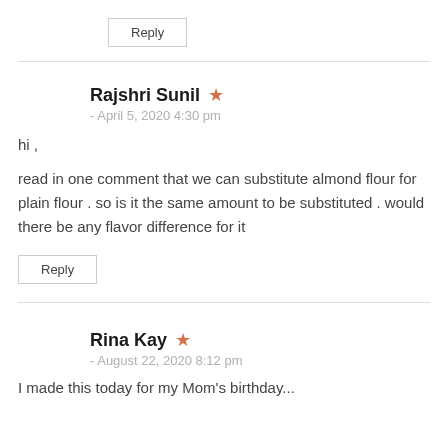Reply
Rajshri Sunil
- April 5, 2020 4:30 pm
hi , read in one comment that we can substitute almond flour for plain flour . so is it the same amount to be substituted . would there be any flavor difference for it
Reply
Rina Kay
- August 22, 2020 8:12 pm
I made this today for my Mom's birthday...